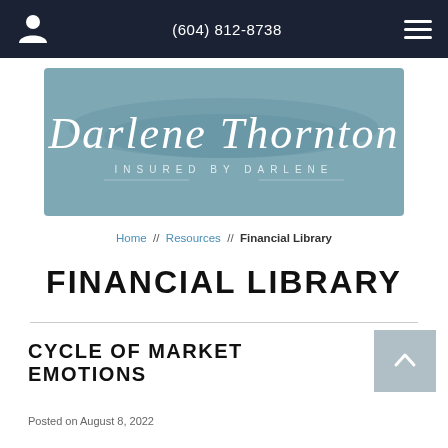(604) 812-8738
[Figure (logo): Darlene Thornton – Insured by Darlene logo on teal/steel-blue background with script lettering]
Home // Resources // Financial Library
FINANCIAL LIBRARY
CYCLE OF MARKET EMOTIONS
Posted on August 8, 2022